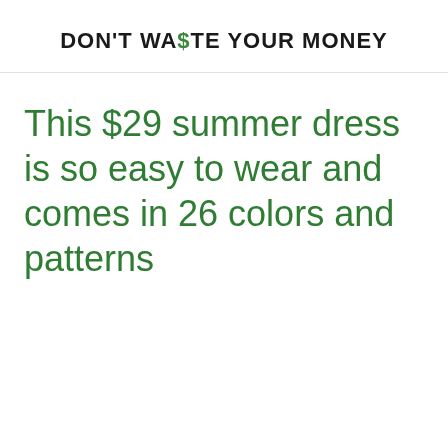DON'T WASTE YOUR MONEY
This $29 summer dress is so easy to wear and comes in 26 colors and patterns